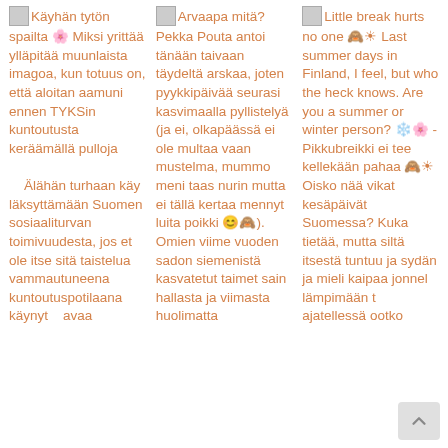Käyhän tytön spailta 🌸 Miksi yrittää ylläpitää muunlaista imagoa, kun totuus on, että aloitan aamuni ennen TYKSin kuntoutusta keräämällä pulloja

Älähän turhaan käy läksyttämään Suomen sosiaaliturvan toimivuudesta, jos et ole itse sitä taistelua vammautuneena kuntoutuspotilaana käynyt avaa
Arvaapa mitä? Pekka Pouta antoi tänään taivaan täydeltä arskaa, joten pyykkipäivää seurasi kasvimaalla pyllistelyä (ja ei, olkapäässä ei ole multaa vaan mustelma, mummo meni taas nurin mutta ei tällä kertaa mennyt luita poikki 😊🙈). Omien viime vuoden sadon siemenistä kasvatetut taimet sain hallasta ja viimasta huolimatta
Little break hurts no one 🙈☀ Last summer days in Finland, I feel, but who the heck knows. Are you a summer or winter person? ❄️🌸 - Pikkubreikki ei tee kellekään pahaa 🙈☀ Oisko nää vikat kesäpäivät Suomessa? Kuka tietää, mutta siltä itsestä tuntuu ja sydän ja mieli kaipaa jonnellämpimään t… ajatellessä ootko